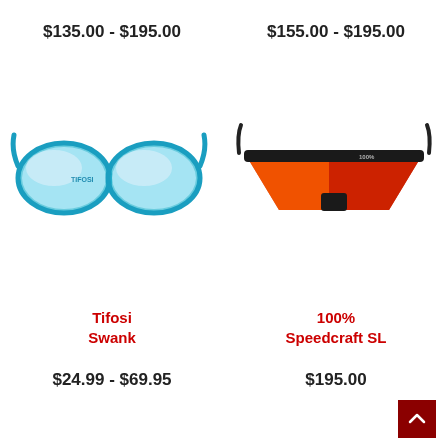$135.00 - $195.00
$155.00 - $195.00
[Figure (photo): Tifosi Swank sunglasses with blue translucent frame and silver mirrored lenses]
[Figure (photo): 100% Speedcraft SL sunglasses with black frame and red/orange mirrored shield lens]
Tifosi
Swank
100%
Speedcraft SL
$24.99 - $69.95
$195.00